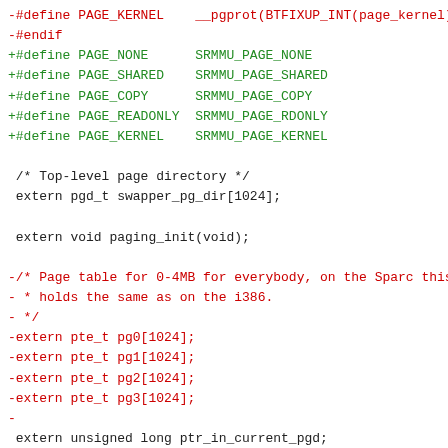-#define PAGE_KERNEL    __pgprot(BTFIXUP_INT(page_kernel))
-#endif
+#define PAGE_NONE      SRMMU_PAGE_NONE
+#define PAGE_SHARED    SRMMU_PAGE_SHARED
+#define PAGE_COPY      SRMMU_PAGE_COPY
+#define PAGE_READONLY  SRMMU_PAGE_RDONLY
+#define PAGE_KERNEL    SRMMU_PAGE_KERNEL

 /* Top-level page directory */
 extern pgd_t swapper_pg_dir[1024];

 extern void paging_init(void);

-/* Page table for 0-4MB for everybody, on the Sparc this
- * holds the same as on the i386.
- */
-extern pte_t pg0[1024];
-extern pte_t pg1[1024];
-extern pte_t pg2[1024];
-extern pte_t pg3[1024];
-
 extern unsigned long ptr_in_current_pgd;

-/* Here is a trick, since mmap.c need the initializer elemen
- * protection_map[] to be constant at compile time, I set th